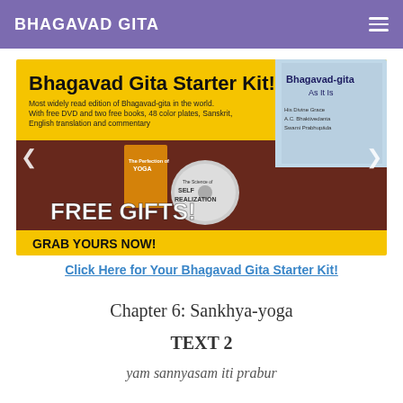BHAGAVAD GITA
[Figure (illustration): Bhagavad Gita Starter Kit promotional banner with yellow background showing books, DVD, and FREE GIFTS! text, with GRAB YOURS NOW! call to action at the bottom.]
Click Here for Your Bhagavad Gita Starter Kit!
Chapter 6: Sankhya-yoga
TEXT 2
yam sannyasam iti prabur